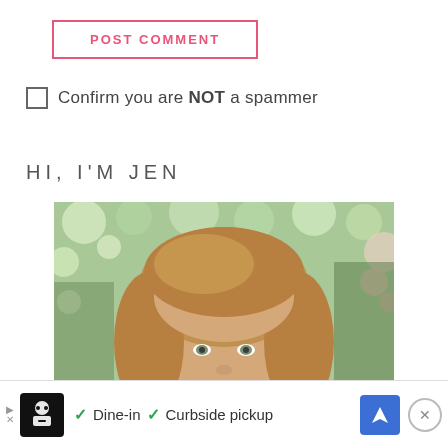POST COMMENT
Confirm you are NOT a spammer
HI, I'M JEN
[Figure (photo): Portrait photo of a woman named Jen with long blonde hair, smiling, outdoors with blurred green foliage and pink flowers in the background]
[Figure (infographic): Advertisement banner at bottom of page showing a restaurant icon, checkmarks for Dine-in and Curbside pickup, a navigation arrow icon, and a close button]